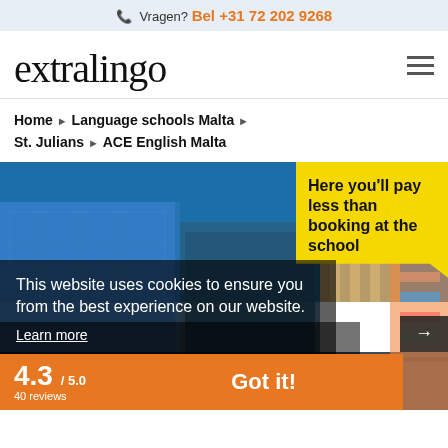Vragen?  Bel +31 72 202 9268
[Figure (logo): extralingo logo in handwritten/script style font]
Home ▶ Language schools Malta ▶ St. Julians ▶ ACE English Malta
[Figure (photo): Aerial/street view photo of buildings in Malta with blue sky]
Here you'll pay less than booking at the school
This website uses cookies to ensure you from the best experience on our website. Learn more
4.3 / 5.0  40 reviews
Got it!
Good